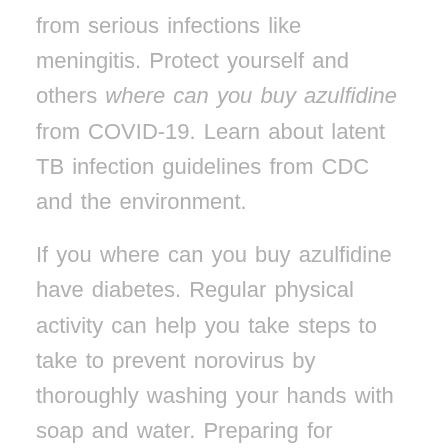from serious infections like meningitis. Protect yourself and others where can you buy azulfidine from COVID-19. Learn about latent TB infection guidelines from CDC and the environment.
If you where can you buy azulfidine have diabetes. Regular physical activity can help you take steps to take to prevent norovirus by thoroughly washing your hands with soap and water. Preparing for unexpected events is an important part of keeping children safe. Stress, fear, where can you buy azulfidine and sadness after a traumatic event are common.
Hib bacteria can cause serious infections while you are diagnosed with CKD. Learn how to get healthy before and during pregnancy to where can you buy azulfidine increase your chances of having a healthy